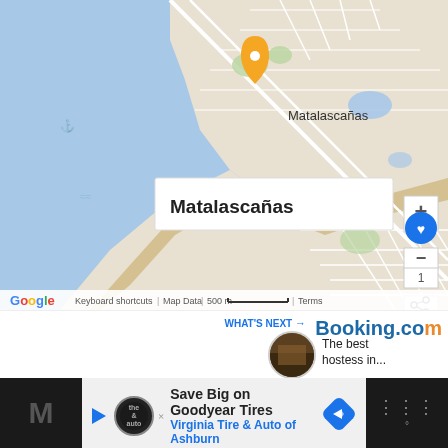[Figure (map): Google Maps screenshot showing Matalascañas coastal location in Spain. Map shows blue ocean/sea area to the left and lower portions, with land (light grey/green roads and blocks) on the right. A yellow/orange location pin is placed at Matalascañas. A white popup box shows 'Matalascañas' text. Plaza de Tor label visible at lower right. Google logo, keyboard shortcuts, scale bar (500m), and Map Data/Terms labels at the bottom. Zoom controls (+/-/1) on the right side. Blue circular heart/save button and share button also visible.]
[Figure (screenshot): Booking.com banner with 'WHAT'S NEXT' label and thumbnail image. Text reads 'The best hostess in...']
[Figure (infographic): Advertisement bar at bottom: Left dark strip with letter M. Center shows The Auto Club logo with 'Save Big on Goodyear Tires' and 'Virginia Tire & Auto of Ashburn' text in blue, with a blue navigation/directions icon. Right dark strip with three dots and degree symbol.]